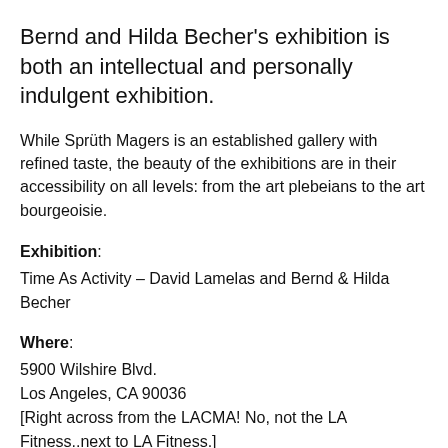Bernd and Hilda Becher's exhibition is both an intellectual and personally indulgent exhibition.
While Sprüth Magers is an established gallery with refined taste, the beauty of the exhibitions are in their accessibility on all levels: from the art plebeians to the art bourgeoisie.
Exhibition: Time As Activity – David Lamelas and Bernd & Hilda Becher
Where: 5900 Wilshire Blvd. Los Angeles, CA 90036 [Right across from the LACMA! No, not the LA Fitness..next to LA Fitness.]
Hours: